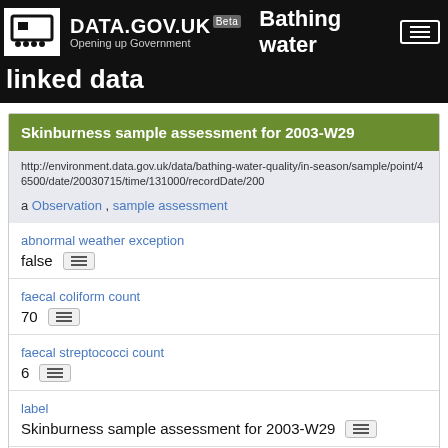DATA.GOV.UK Beta — Bathing water linked data
Skinburness sample assessment for 2003-W29
http://environment.data.gov.uk/data/bathing-water-quality/in-season/sample/point/46500/date/20030715/time/131000/recordDate/200...
a Observation , sample assessment
abnormal weather exception
false
faecal coliform count
70
faecal streptococci count
6
label
Skinburness sample assessment for 2003-W29
total coliform count
27